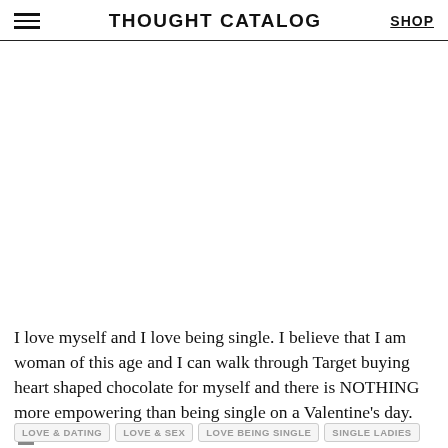THOUGHT CATALOG | SHOP
I love myself and I love being single. I believe that I am woman of this age and I can walk through Target buying heart shaped chocolate for myself and there is NOTHING more empowering than being single on a Valentine’s day.
LOVE & DATING
LOVE & SEX
LOVE BEING SINGLE
SINGLE LADIES